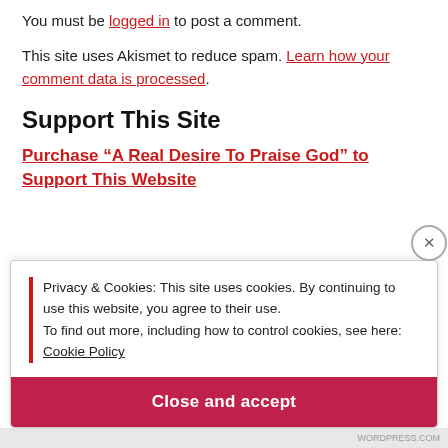You must be logged in to post a comment.
This site uses Akismet to reduce spam. Learn how your comment data is processed.
Support This Site
Purchase “A Real Desire To Praise God” to Support This Website
Privacy & Cookies: This site uses cookies. By continuing to use this website, you agree to their use.
To find out more, including how to control cookies, see here: Cookie Policy
Close and accept